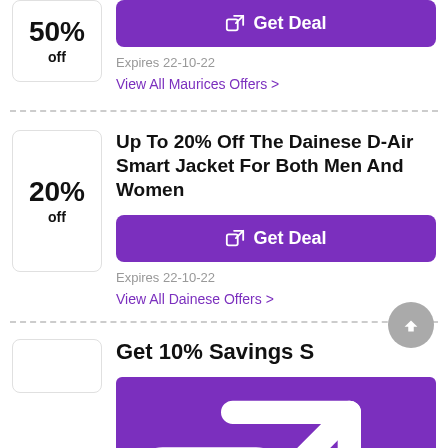[Figure (other): 50% off badge box]
Get Deal
Expires 22-10-22
View All Maurices Offers >
Up To 20% Off The Dainese D-Air Smart Jacket For Both Men And Women
[Figure (other): 20% off badge box]
Get Deal
Expires 22-10-22
View All Dainese Offers >
Get 10% Savings S
Get Deal